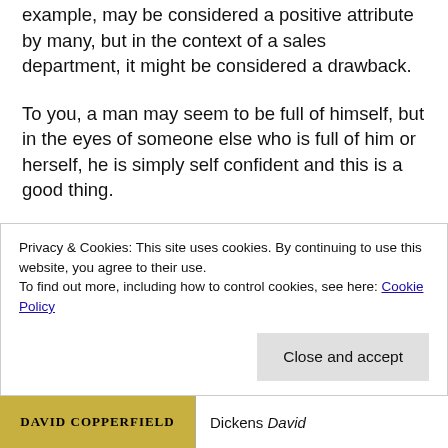example, may be considered a positive attribute by many, but in the context of a sales department, it might be considered a drawback.
To you, a man may seem to be full of himself, but in the eyes of someone else who is full of him or herself, he is simply self confident and this is a good thing.
These considerations make it all the more challenging to create believable fictional characters. It's a tricky balancing act. I've been known to put away a novel, albeit very well written, because I've not found a single character that I like. On the other hand, if characters have no flaws at all, they seem flat. Two-dimensional.
Privacy & Cookies: This site uses cookies. By continuing to use this website, you agree to their use.
To find out more, including how to control cookies, see here: Cookie Policy
[Figure (photo): Book cover of David Copperfield (yellow/gold cover) on the left, and text 'Dickens David' on the right]